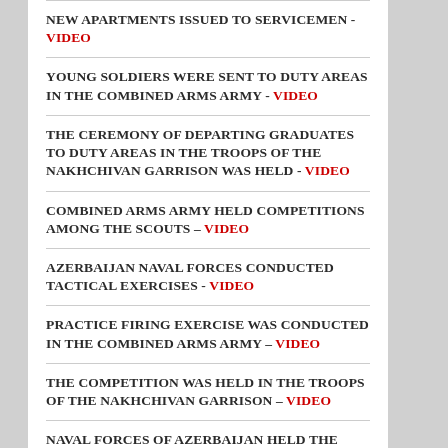NEW APARTMENTS ISSUED TO SERVICEMEN - VIDEO
YOUNG SOLDIERS WERE SENT TO DUTY AREAS IN THE COMBINED ARMS ARMY - VIDEO
THE CEREMONY OF DEPARTING GRADUATES TO DUTY AREAS IN THE TROOPS OF THE NAKHCHIVAN GARRISON WAS HELD - VIDEO
COMBINED ARMS ARMY HELD COMPETITIONS AMONG THE SCOUTS – VIDEO
AZERBAIJAN NAVAL FORCES CONDUCTED TACTICAL EXERCISES - VIDEO
PRACTICE FIRING EXERCISE WAS CONDUCTED IN THE COMBINED ARMS ARMY – VIDEO
THE COMPETITION WAS HELD IN THE TROOPS OF THE NAKHCHIVAN GARRISON – VIDEO
NAVAL FORCES OF AZERBAIJAN HELD THE TACTICAL EXERCISE - VIDEO
SOLDIERS SEND HOLIDAY CONGRATULATIONS TO THEIR